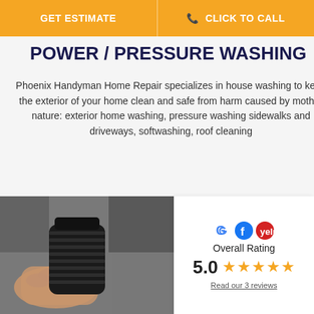GET ESTIMATE | CLICK TO CALL
POWER / PRESSURE WASHING
Phoenix Handyman Home Repair specializes in house washing to keep the exterior of your home clean and safe from harm caused by mother nature: exterior home washing, pressure washing sidewalks and driveways, softwashing, roof cleaning
[Figure (photo): Close-up of a person's hand holding a black corrugated pressure washer hose nozzle attachment]
Overall Rating 5.0 ★★★★★ Read our 3 reviews